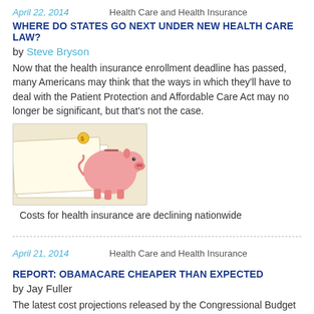April 22, 2014    Health Care and Health Insurance
WHERE DO STATES GO NEXT UNDER NEW HEALTH CARE LAW?
by Steve Bryson
Now that the health insurance enrollment deadline has passed, many Americans may think that the ways in which they'll have to deal with the Patient Protection and Affordable Care Act may no longer be significant, but that's not the case.
[Figure (photo): A piggy bank on top of insurance claim forms and documents]
Costs for health insurance are declining nationwide
April 21, 2014    Health Care and Health Insurance
REPORT: OBAMACARE CHEAPER THAN EXPECTED
by Jay Fuller
The latest cost projections released by the Congressional Budget Office suggest that health insurance costs under the ACA may be